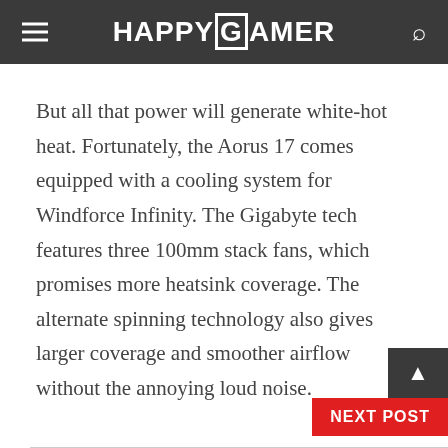HAPPYGAMER
But all that power will generate white-hot heat. Fortunately, the Aorus 17 comes equipped with a cooling system for Windforce Infinity. The Gigabyte tech features three 100mm stack fans, which promises more heatsink coverage. The alternate spinning technology also gives larger coverage and smoother airflow without the annoying loud noise.